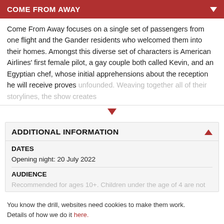COME FROM AWAY
Come From Away focuses on a single set of passengers from one flight and the Gander residents who welcomed them into their homes. Amongst this diverse set of characters is American Airlines' first female pilot, a gay couple both called Kevin, and an Egyptian chef, whose initial apprehensions about the reception he will receive proves unfounded. Weaving together all of their storylines, the show creates
ADDITIONAL INFORMATION
DATES
Opening night: 20 July 2022
AUDIENCE
Recommended for ages 10+. Children under the age of 4 are not
You know the drill, websites need cookies to make them work. Details of how we do it here.
Got it!